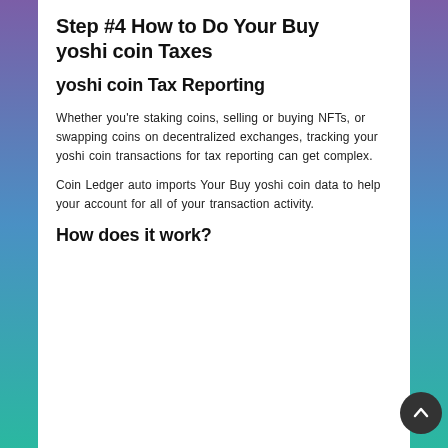Step #4 How to Do Your Buy yoshi coin Taxes
yoshi coin Tax Reporting
Whether you're staking coins, selling or buying NFTs, or swapping coins on decentralized exchanges, tracking your yoshi coin transactions for tax reporting can get complex.
Coin Ledger auto imports Your Buy yoshi coin data to help your account for all of your transaction activity.
How does it work?